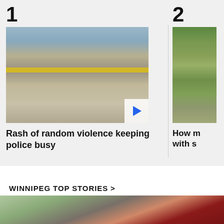1
[Figure (photo): Crime scene with wheelchair on sidewalk, yellow police tape across the scene, urban street setting with yellow building in background]
Rash of random violence keeping police busy
2
[Figure (photo): Close-up of green produce/vegetables, partially cropped]
How [something] with s[omething] (partially visible)
WINNIPEG TOP STORIES >
[Figure (photo): Street scene with large red brick building on right, green trees on left, blurred urban setting]